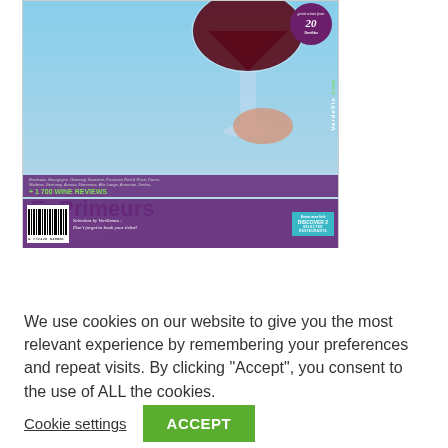[Figure (illustration): Magazine cover for 'EnPrimeurs' special edition by VerdeVin.com. Shows a wine glass with red wine against a blue sky background. Text includes 'Special EnPrimeurs', subtitle about 2021 vintage in Bordeaux, Porto & Duoro, Germany, Austria, Tuscany, Sicily, Abruzzo, Amarone. Lists wine regions and '+1 700 WINE REVIEWS'. Bottom bar shows barcode, 'Selection by Vertilenna: Don't forget to book your ticket!' and 'DISCOVER 2 SELECTED RESTAURANTS'. Purple badge top right with '20 great wines from Serbia'.]
We use cookies on our website to give you the most relevant experience by remembering your preferences and repeat visits. By clicking "Accept", you consent to the use of ALL the cookies.
Cookie settings
ACCEPT